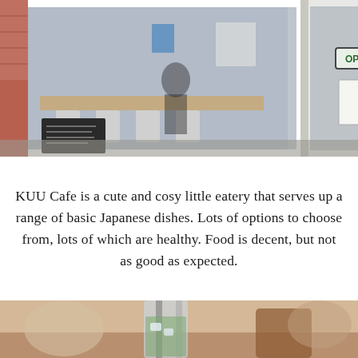[Figure (photo): Exterior view of KUU Cafe storefront through glass windows. Interior showing a wooden counter, bar stools, a chalkboard menu, and potted plants. An OPEN sign hangs on the door. White-painted building facade visible on the right.]
KUU Cafe is a cute and cosy little eatery that serves up a range of basic Japanese dishes. Lots of options to choose from, lots of which are healthy. Food is decent, but not as good as expected.
[Figure (photo): Close-up photo of a drink at KUU Cafe, showing what appears to be an iced beverage with a straw, with food items visible in the background.]